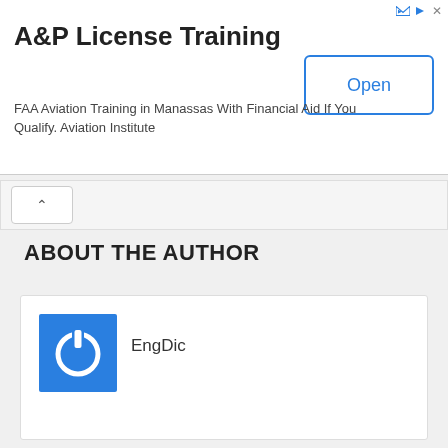[Figure (screenshot): Advertisement banner: A&P License Training - FAA Aviation Training in Manassas With Financial Aid If You Qualify. Aviation Institute. With an Open button.]
ABOUT THE AUTHOR
EngDic